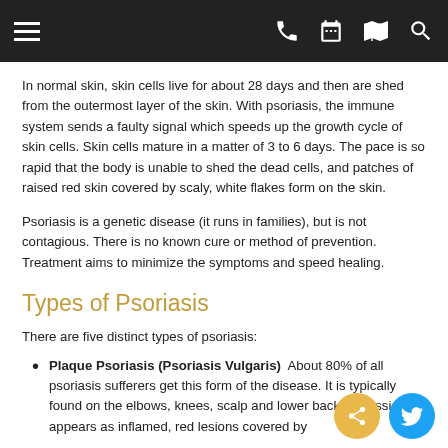[Navigation bar with menu, phone, calendar, map, search icons]
In normal skin, skin cells live for about 28 days and then are shed from the outermost layer of the skin. With psoriasis, the immune system sends a faulty signal which speeds up the growth cycle of skin cells. Skin cells mature in a matter of 3 to 6 days. The pace is so rapid that the body is unable to shed the dead cells, and patches of raised red skin covered by scaly, white flakes form on the skin.
Psoriasis is a genetic disease (it runs in families), but is not contagious. There is no known cure or method of prevention. Treatment aims to minimize the symptoms and speed healing.
Types of Psoriasis
There are five distinct types of psoriasis:
Plaque Psoriasis (Psoriasis Vulgaris)  About 80% of all psoriasis sufferers get this form of the disease. It is typically found on the elbows, knees, scalp and lower back. It classically appears as inflamed, red lesions covered by